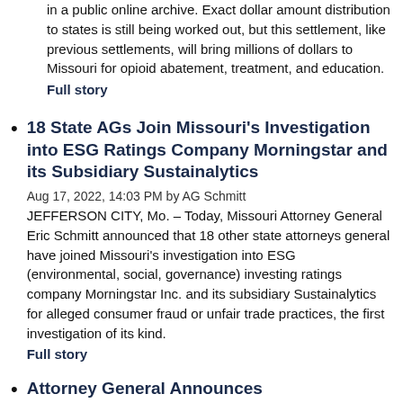in a public online archive. Exact dollar amount distribution to states is still being worked out, but this settlement, like previous settlements, will bring millions of dollars to Missouri for opioid abatement, treatment, and education.
Full story
18 State AGs Join Missouri's Investigation into ESG Ratings Company Morningstar and its Subsidiary Sustainalytics
Aug 17, 2022, 14:03 PM by AG Schmitt
JEFFERSON CITY, Mo. – Today, Missouri Attorney General Eric Schmitt announced that 18 other state attorneys general have joined Missouri's investigation into ESG (environmental, social, governance) investing ratings company Morningstar Inc. and its subsidiary Sustainalytics for alleged consumer fraud or unfair trade practices, the first investigation of its kind.
Full story
Attorney General Announces